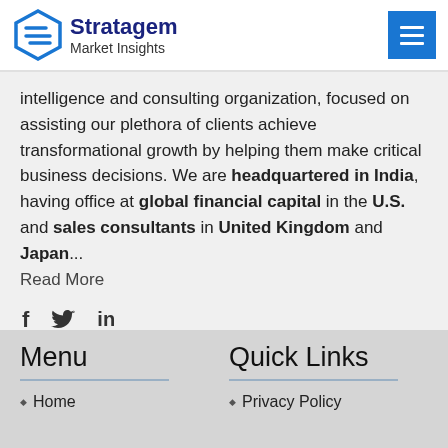Stratagem Market Insights
intelligence and consulting organization, focused on assisting our plethora of clients achieve transformational growth by helping them make critical business decisions. We are headquartered in India, having office at global financial capital in the U.S. and sales consultants in United Kingdom and Japan... Read More
[Figure (infographic): Social media icons: Facebook (f), Twitter (bird), LinkedIn (in)]
Menu
Quick Links
Home
Privacy Policy